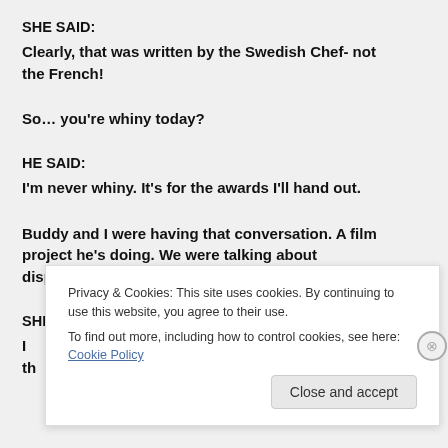SHE SAID:
Clearly, that was written by the Swedish Chef- not the French!
So… you're whiny today?
HE SAID:
I'm never whiny. It's for the awards I'll hand out.
Buddy and I were having that conversation. A film project he's doing. We were talking about dispositions.
SHE SAID:
I... th...
Privacy & Cookies: This site uses cookies. By continuing to use this website, you agree to their use.
To find out more, including how to control cookies, see here: Cookie Policy